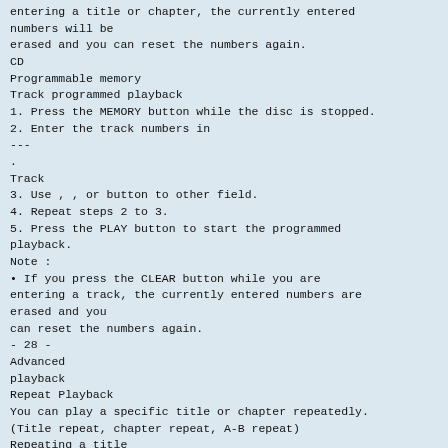entering a title or chapter, the currently entered numbers will be erased and you can reset the numbers again.
CD
Programmable memory
Track programmed playback
1. Press the MEMORY button while the disc is stopped.
2. Enter the track numbers in
---
.
Track
3. Use , , or button to other field.
4. Repeat steps 2 to 3.
5. Press the PLAY button to start the programmed playback.
Note :
• If you press the CLEAR button while you are entering a track, the currently entered numbers are erased and you can reset the numbers again.
- 28 -
Advanced playback
Repeat Playback
You can play a specific title or chapter repeatedly. (Title repeat, chapter repeat, A-B repeat)
Repeating a title
DVD
You can play the same title repeatedly.
1. While the disc is playing, press the REPEAT DISC button until the " Repeat Title " indicator displays on the screen. The current